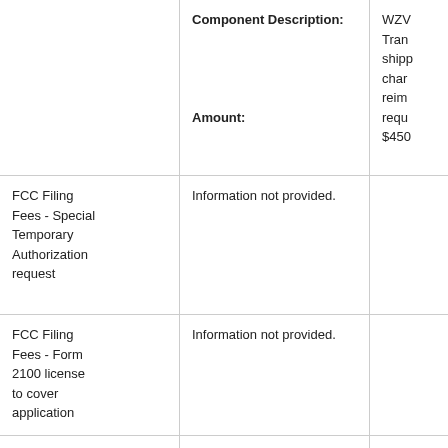|  | Component Description / Amount | WZV... / $450... |
| --- | --- | --- |
|  | Component Description: | WZV Tran shipp char reim requ |
|  | Amount: | $450 |
| FCC Filing Fees - Special Temporary Authorization request | Information not provided. |  |
| FCC Filing Fees - Form 2100 license to cover application | Information not provided. |  |
| FCC Filing Fees - Form | Information not provided. |  |